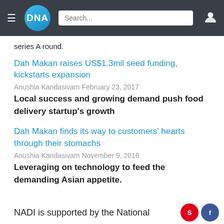DNA | Search...
series A round.
Dah Makan raises US$1.3mil seed funding, kickstarts expansion
Anushia Kandasivam February 23, 2017
Local success and growing demand push food delivery startup’s growth
Dah Makan finds its way to customers’ hearts through their stomachs
Anushia Kandasivam November 9, 2016
Leveraging on technology to feed the demanding Asian appetite.
NADI is supported by the National